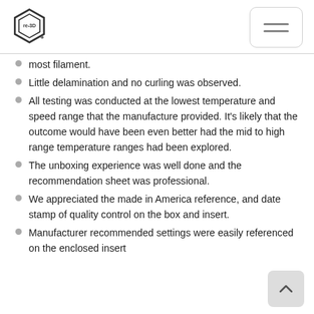[Figure (logo): re-3D hexagonal logo with text 're-3D' inside]
most filament.
Little delamination and no curling was observed.
All testing was conducted at the lowest temperature and speed range that the manufacture provided. It's likely that the outcome would have been even better had the mid to high range temperature ranges had been explored.
The unboxing experience was well done and the recommendation sheet was professional.
We appreciated the made in America reference, and date stamp of quality control on the box and insert.
Manufacturer recommended settings were easily referenced on the enclosed insert